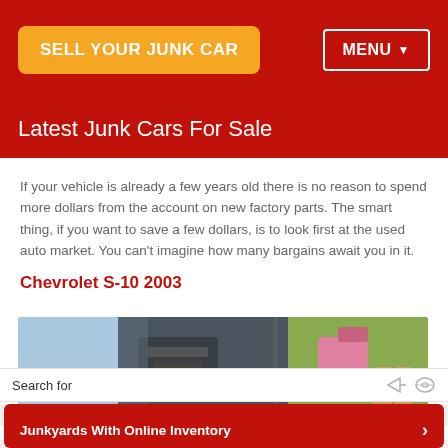SELL YOUR JUNK CAR | MENU
Latest Junk Cars For Sale
If your vehicle is already a few years old there is no reason to spend more dollars from the account on new factory parts. The smart thing, if you want to save a few dollars, is to look first at the used auto market. You can't imagine how many bargains await you in it.
Chevrolet S-10 2003
[Figure (photo): Photo of a junk car (Chevrolet S-10 2003) in a yard, showing the hood area and surrounding environment with grass and boxes.]
Search for
Search Car Parts
Junkyards With Online Inventory